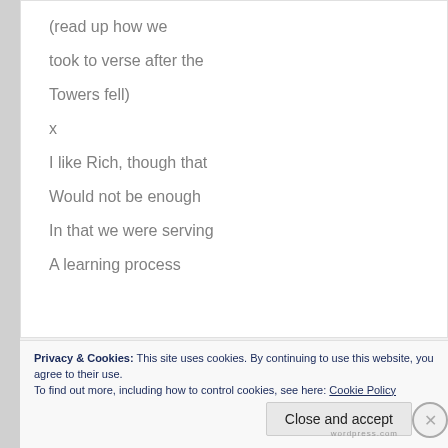(read up how we

took to verse after the

Towers fell)

x

I like Rich, though that

Would not be enough

In that we were serving

A learning process
Privacy & Cookies: This site uses cookies. By continuing to use this website, you agree to their use.
To find out more, including how to control cookies, see here: Cookie Policy
Close and accept